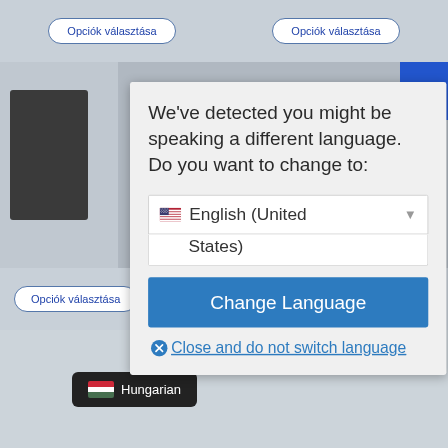[Figure (screenshot): Background of a website in Hungarian language with 'Opciók választása' buttons visible, and a blue banner with 'kció!' text. A dark image panel is on the left side. Bottom shows 'Opciók választása' button and a 'Hungarian' language badge.]
We've detected you might be speaking a different language. Do you want to change to:
English (United States)
Change Language
Close and do not switch language
Hungarian